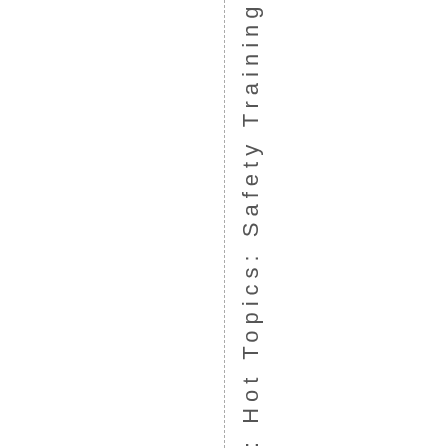y: Hot Topics: Safety Training